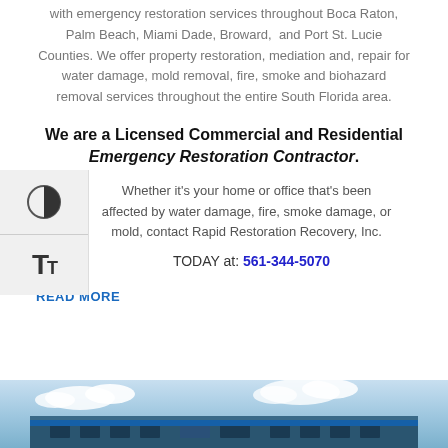with emergency restoration services throughout Boca Raton, Palm Beach, Miami Dade, Broward, and Port St. Lucie Counties. We offer property restoration, mediation and, repair for water damage, mold removal, fire, smoke and biohazard removal services throughout the entire South Florida area.
We are a Licensed Commercial and Residential Emergency Restoration Contractor.
Whether it's your home or office that's been affected by water damage, fire, smoke damage, or mold, contact Rapid Restoration Recovery, Inc.
TODAY at: 561-344-5070
READ MORE
[Figure (photo): Bottom portion of a building exterior with blue sky and clouds visible]